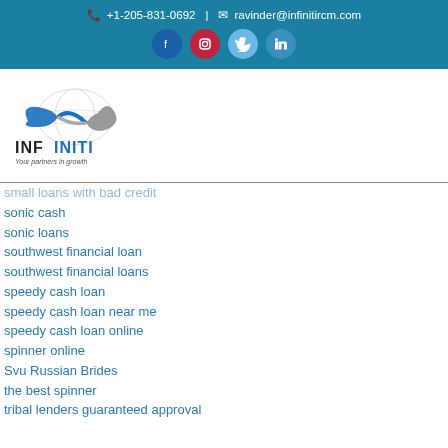+1-205-831-0692 | ravinder@infinitircm.com
[Figure (logo): Infiniti RCM logo with infinity symbol and text 'INFINITI Your partners in growth']
small loans with bad credit
sonic cash
sonic loans
southwest financial loan
southwest financial loans
speedy cash loan
speedy cash loan near me
speedy cash loan online
spinner online
Svu Russian Brides
the best spinner
tribal lenders guaranteed approval